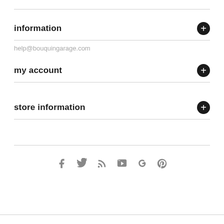information
help@bouquingarage.com
my account
store information
[Figure (infographic): Row of social media icons: Facebook, Twitter, RSS, YouTube, Google+, Pinterest]